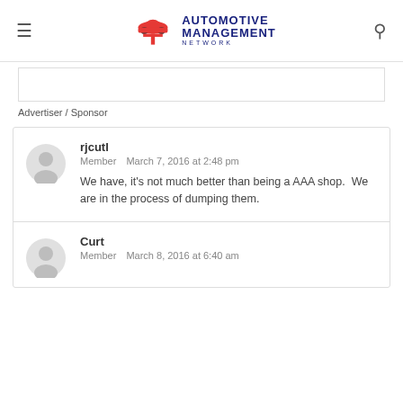Automotive Management Network
Advertiser / Sponsor
rjcutl
Member  March 7, 2016 at 2:48 pm

We have, it's not much better than being a AAA shop.  We are in the process of dumping them.
Curt
Member  March 8, 2016 at 6:40 am